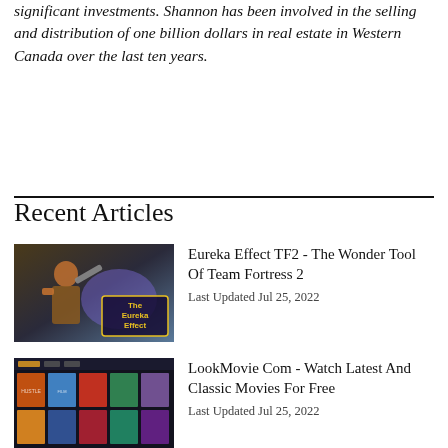significant investments. Shannon has been involved in the selling and distribution of one billion dollars in real estate in Western Canada over the last ten years.
Recent Articles
[Figure (photo): Thumbnail image for Eureka Effect TF2 article showing a Team Fortress 2 character with text 'The Eureka Effect' in yellow on dark background]
Eureka Effect TF2 - The Wonder Tool Of Team Fortress 2
Last Updated Jul 25, 2022
[Figure (screenshot): Thumbnail screenshot of LookMovie website showing a grid of movie posters on dark background]
LookMovie Com - Watch Latest And Classic Movies For Free
Last Updated Jul 25, 2022